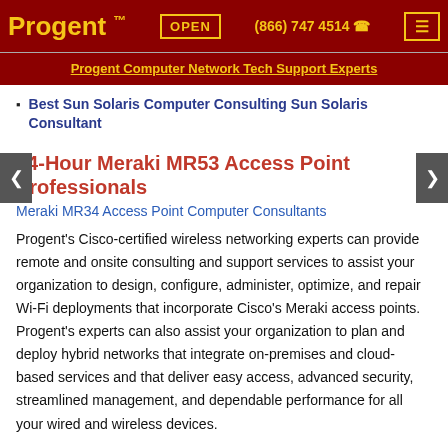Progent ™  OPEN  (866) 747 4514  ☎
Progent Computer Network Tech Support Experts
Best Sun Solaris Computer Consulting Sun Solaris Consultant
24-Hour Meraki MR53 Access Point Professionals
Meraki MR34 Access Point Computer Consultants
Progent's Cisco-certified wireless networking experts can provide remote and onsite consulting and support services to assist your organization to design, configure, administer, optimize, and repair Wi-Fi deployments that incorporate Cisco's Meraki access points. Progent's experts can also assist your organization to plan and deploy hybrid networks that integrate on-premises and cloud-based services and that deliver easy access, advanced security, streamlined management, and dependable performance for all your wired and wireless devices.